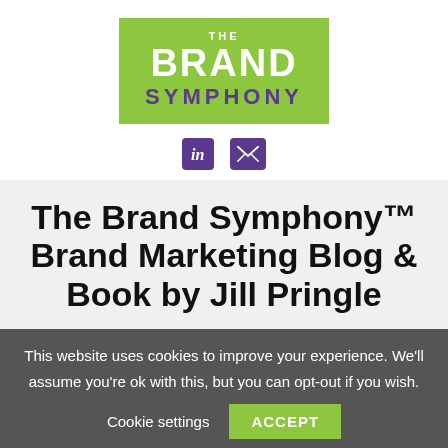[Figure (logo): The Brand Symphony logo: green rectangle with THE in small white caps, BRAND in large white bold text, SYMPHONY in purple bold text]
[Figure (infographic): Two purple social media icons: LinkedIn square icon and email envelope icon]
The Brand Symphony™ Brand Marketing Blog & Book by Jill Pringle
This website uses cookies to improve your experience. We'll assume you're ok with this, but you can opt-out if you wish.
Cookie settings   ACCEPT